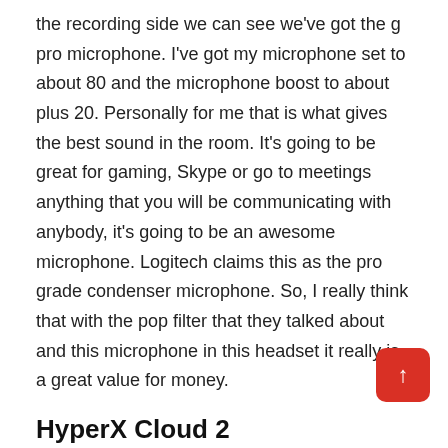the recording side we can see we've got the g pro microphone. I've got my microphone set to about 80 and the microphone boost to about plus 20. Personally for me that is what gives the best sound in the room. It's going to be great for gaming, Skype or go to meetings anything that you will be communicating with anybody, it's going to be an awesome microphone. Logitech claims this as the pro grade condenser microphone. So, I really think that with the pop filter that they talked about and this microphone in this headset it really is a great value for money.
HyperX Cloud 2
The noise cancelling mic is detachable, so you can use as a regular headphones. It does sound a little bit